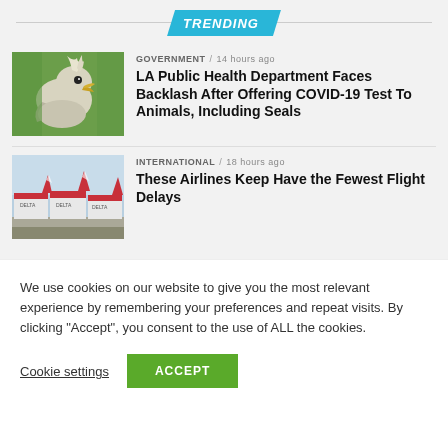TRENDING
[Figure (photo): Close-up photo of a bird (possibly a cockatoo or similar bird) with white feathers and beak open, against green background]
GOVERNMENT / 14 hours ago
LA Public Health Department Faces Backlash After Offering COVID-19 Test To Animals, Including Seals
[Figure (photo): Photo of multiple Delta Airlines aircraft on a tarmac, tail fins visible showing Delta logo]
INTERNATIONAL / 18 hours ago
These Airlines Keep Have the Fewest Flight Delays
We use cookies on our website to give you the most relevant experience by remembering your preferences and repeat visits. By clicking "Accept", you consent to the use of ALL the cookies.
Cookie settings
ACCEPT